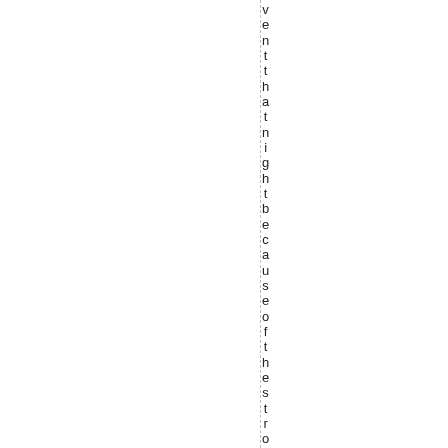ventthatnight because of thestrong